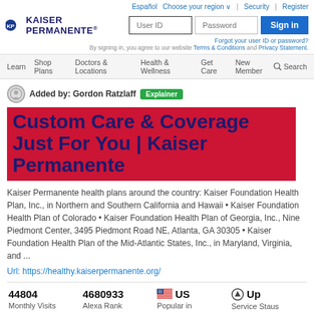[Figure (screenshot): Kaiser Permanente website screenshot with login area, navigation bar, page title, description text, and site statistics]
Added by: Gordon Ratzlaff  Explainer
Custom Care & Coverage Just For You | Kaiser Permanente
Kaiser Permanente health plans around the country: Kaiser Foundation Health Plan, Inc., in Northern and Southern California and Hawaii • Kaiser Foundation Health Plan of Colorado • Kaiser Foundation Health Plan of Georgia, Inc., Nine Piedmont Center, 3495 Piedmont Road NE, Atlanta, GA 30305 • Kaiser Foundation Health Plan of the Mid-Atlantic States, Inc., in Maryland, Virginia, and ...
Url: https://healthy.kaiserpermanente.org/
| Monthly Visits | Alexa Rank | Popular in | Service Staus |
| --- | --- | --- | --- |
| 44804 | 4680933 | US | Up |